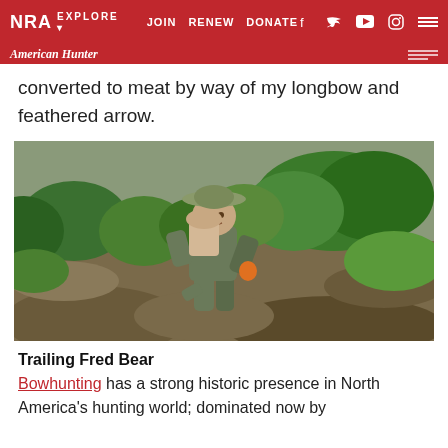NRA EXPLORE ▾  JOIN  RENEW  DONATE  f  🐦  ▶  📷
American Hunter
converted to meat by way of my longbow and feathered arrow.
[Figure (photo): A hunter in camouflage clothing and wide-brimmed hat carrying a pack with game meat, crouching among rocks and dense green shrubs in an arid landscape.]
Trailing Fred Bear
Bowhunting has a strong historic presence in North America's hunting world; dominated now by